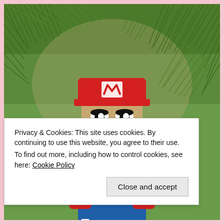[Figure (photo): A crochet/knitted Mario character ornament hanging in pine tree branches. The figure has a red hat with white M logo, a beige face with black embroidered eyes, mustache and smile, red shirt/arms, blue overalls, and yellow buttons. Background is blurred green pine needles.]
Privacy & Cookies: This site uses cookies. By continuing to use this website, you agree to their use.
To find out more, including how to control cookies, see here: Cookie Policy
Close and accept